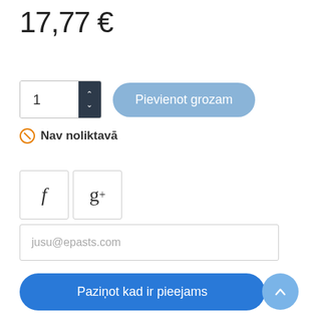17,77 €
[Figure (screenshot): Quantity selector with number input '1' and up/down arrows, and a blue 'Pievienot grozam' (Add to cart) button]
Nav noliktavā
[Figure (screenshot): Social share buttons: Facebook (f) and Google+ (g+) icon buttons]
[Figure (screenshot): Email input field with placeholder 'jusu@epasts.com']
[Figure (screenshot): Blue 'Paziņot kad ir pieejams' (Notify when available) button]
0...